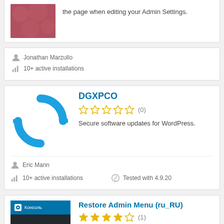the page when editing your Admin Settings.
Jonathan Marzullo
10+ active installations
DGXPCO
[Figure (logo): Blue circular refresh/sync arrows icon for DGXPCO plugin]
0 stars out of 5 (0 ratings)
Secure software updates for WordPress.
Eric Mann
10+ active installations
Tested with 4.9.20
Restore Admin Menu (ru_RU)
[Figure (screenshot): WordPress admin menu screenshot showing Консоль sidebar]
star rating (1)